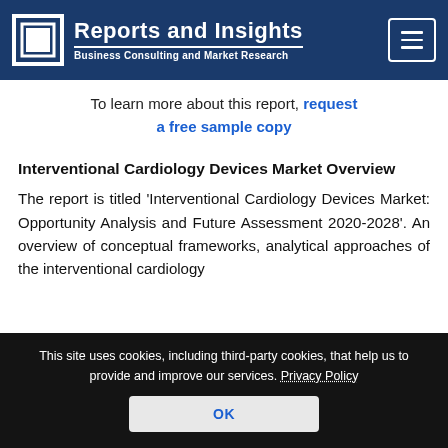Reports and Insights — Business Consulting and Market Research
To learn more about this report, request a free sample copy
Interventional Cardiology Devices Market Overview
The report is titled 'Interventional Cardiology Devices Market: Opportunity Analysis and Future Assessment 2020-2028'. An overview of conceptual frameworks, analytical approaches of the interventional cardiology
This site uses cookies, including third-party cookies, that help us to provide and improve our services. Privacy Policy
OK